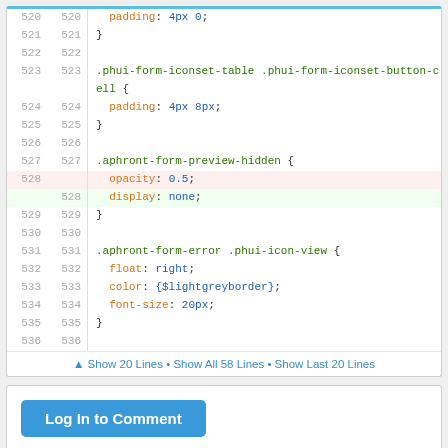[Figure (screenshot): Code diff viewer showing CSS lines 520-536 with line numbers, a deleted line (opacity: 0.5) highlighted in red and an inserted line (display: none) highlighted in green, plus navigation footer]
▲ Show 20 Lines • Show All 58 Lines • Show Last 20 Lines
[Figure (screenshot): Log In to Comment button (blue rounded rectangle)]